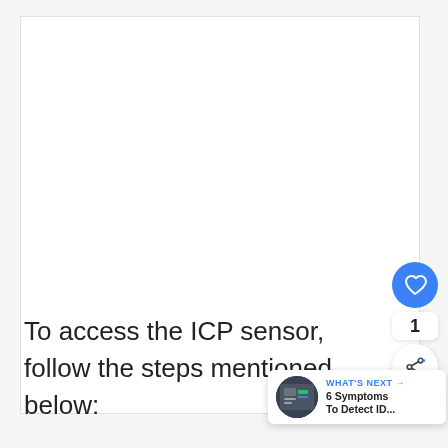[Figure (screenshot): Large white/light gray empty content area, representing a web article page with blank image placeholder at the top.]
To access the ICP sensor, follow the steps mentioned below:
[Figure (infographic): UI overlay elements: a blue circular heart/like button, a count of 1, a white share button with share icon, and a 'What's Next' card showing '6 Symptoms To Detect ID...' with a thumbnail image.]